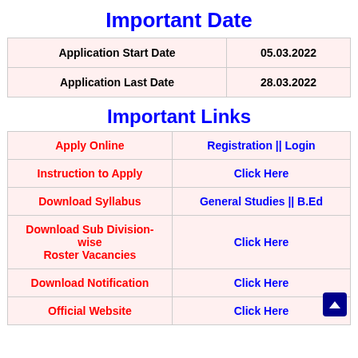Important Date
| Application Start Date | 05.03.2022 |
| Application Last Date | 28.03.2022 |
Important Links
| Apply Online | Registration || Login |
| Instruction to Apply | Click Here |
| Download Syllabus | General Studies || B.Ed |
| Download Sub Division-wise Roster Vacancies | Click Here |
| Download Notification | Click Here |
| Official Website | Click Here |